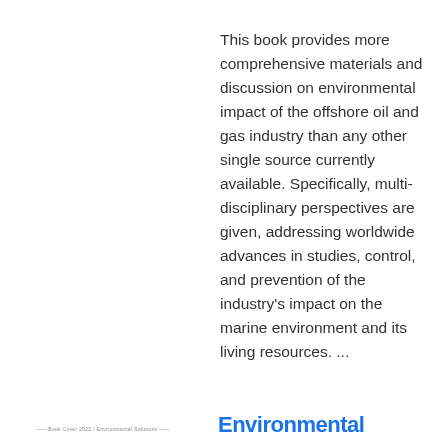This book provides more comprehensive materials and discussion on environmental impact of the offshore oil and gas industry than any other single source currently available. Specifically, multi-disciplinary perspectives are given, addressing worldwide advances in studies, control, and prevention of the industry's impact on the marine environment and its living resources. ...
Environmental